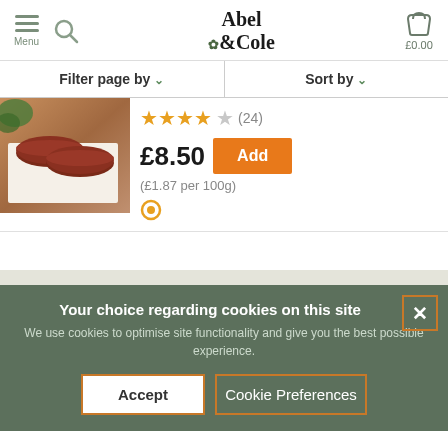Abel & Cole — Menu, Search, Basket £0.00
Filter page by ∨   Sort by ∨
[Figure (photo): Product photo of beef burgers on white paper on a wooden cutting board]
★★★★☆ (24)
£8.50  Add
(£1.87 per 100g)
Your choice regarding cookies on this site
We use cookies to optimise site functionality and give you the best possible experience.
Accept   Cookie Preferences